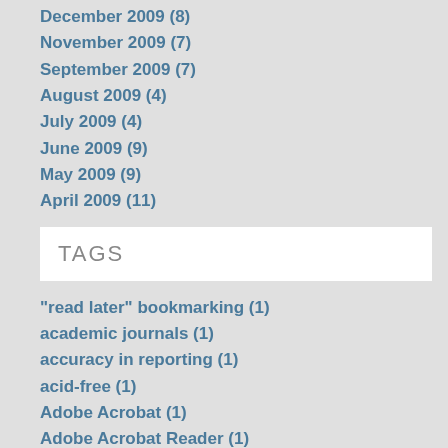December 2009 (8)
November 2009 (7)
September 2009 (7)
August 2009 (4)
July 2009 (4)
June 2009 (9)
May 2009 (9)
April 2009 (11)
TAGS
"read later" bookmarking (1)
academic journals (1)
accuracy in reporting (1)
acid-free (1)
Adobe Acrobat (1)
Adobe Acrobat Reader (1)
advances (1)